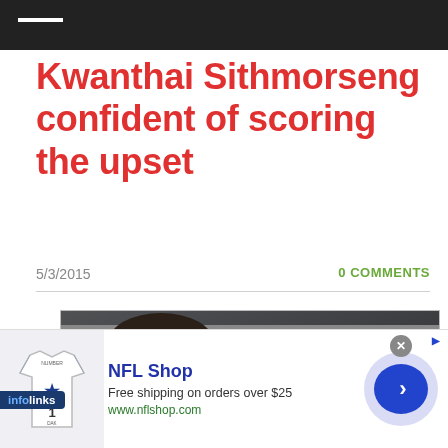Kwanthai Sithmorseng confident of scoring the upset
5/3/2015
0 COMMENTS
[Figure (photo): Two boxers sparring or training, one facing left with a red glove visible, screenshot from a sports/boxing article]
[Figure (screenshot): NFL Shop advertisement showing a Dallas Cowboys jersey (#1), text 'NFL Shop - Free shipping on orders over $25 - www.nflshop.com', with a blue arrow button and infolinks branding badge]